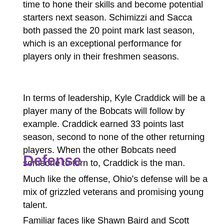time to hone their skills and become potential starters next season. Schimizzi and Sacca both passed the 20 point mark last season, which is an exceptional performance for players only in their freshmen seasons.
In terms of leadership, Kyle Craddick will be a player many of the Bobcats will follow by example. Craddick earned 33 points last season, second to none of the other returning players. When the other Bobcats need someone to turn to, Craddick is the man.
Defense
Much like the offense, Ohio's defense will be a mix of grizzled veterans and promising young talent.
Familiar faces like Shawn Baird and Scott